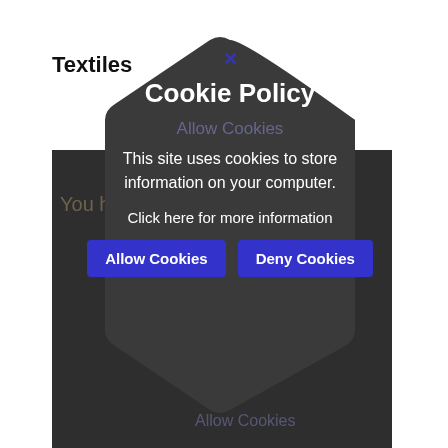Textiles
[Figure (screenshot): A dark hexagonal cookie consent modal dialog overlaid on a webpage. The modal shows 'Cookie Policy' title, body text 'This site uses cookies to store information on your computer.', a 'Click here for more information' link, and two buttons: 'Allow Cookies' and 'Deny Cookies'. A blue X close button appears at the top. Behind the modal, a dark gray rectangle and faint text 'You ha...' and 'Allow Cookies' are visible from the underlying page.]
Biology